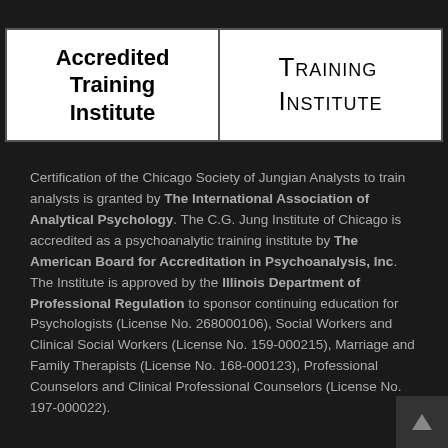[Figure (logo): Two-panel logo box: left panel shows 'Accredited Training Institute' in bold black serif text; right panel shows 'Training Institute' in small-caps black text]
Certification of the Chicago Society of Jungian Analysts to train analysts is granted by The International Association of Analytical Psychology. The C.G. Jung Institute of Chicago is accredited as a psychoanalytic training institute by The American Board for Accreditation in Psychoanalysis, Inc. The Institute is approved by the Illinois Department of Professional Regulation to sponsor continuing education for Psychologists (License No. 268000106), Social Workers and Clinical Social Workers (License No. 159-000215), Marriage and Family Therapists (License No. 168-000123), Professional Counselors and Clinical Professional Counselors (License No. 197-000022).